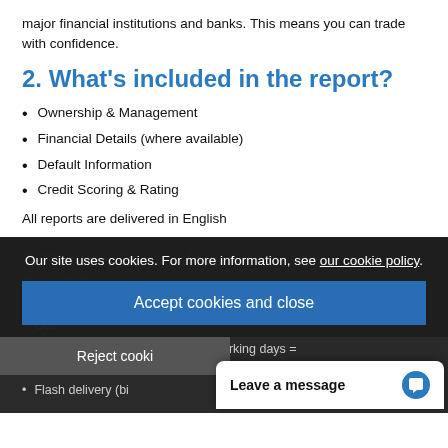major financial institutions and banks. This means you can trade with confidence.
2. What's included in the report?
Ownership & Management
Financial Details (where available)
Default Information
Credit Scoring & Rating
All reports are delivered in English
3. Prices – Saint Helena Business Credit Reports
Our site uses cookies. For more information, see our cookie policy.
Accept cookies and close
Normal delivery (by email): days = GBR...
Express delivery (by email): 5-7 working days = GBR...
Reject cookies
Leave a message